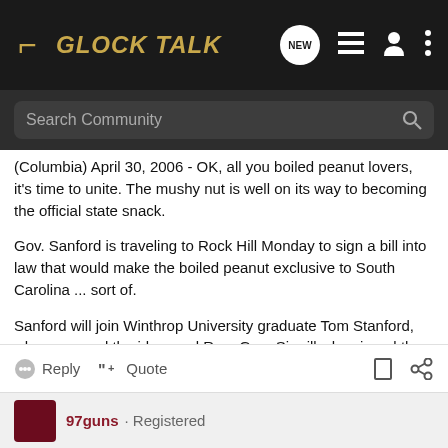GLOCK TALK
(Columbia) April 30, 2006 - OK, all you boiled peanut lovers, it's time to unite. The mushy nut is well on its way to becoming the official state snack.
Gov. Sanford is traveling to Rock Hill Monday to sign a bill into law that would make the boiled peanut exclusive to South Carolina ... sort of.
Sanford will join Winthrop University graduate Tom Stanford, who proposed the idea, and Rep. Gary Simrill who signed the legislation.
Reply   Quote
97guns · Registered